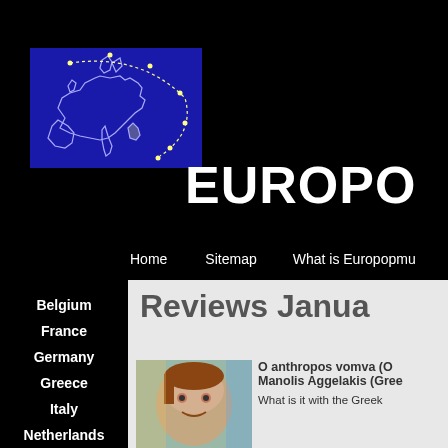[Figure (map): Map of Europe shown in white outlines on dark blue background, with dotted arc path around it]
EUROPO
Home    Sitemap    What is Europopmu
Belgium
France
Germany
Greece
Italy
Netherlands
Reviews Janua
[Figure (photo): Thumbnail image showing a person's face with colorful artistic rendering]
O anthropos vomva (O
Manolis Aggelakis (Gree
What is it with the Greek